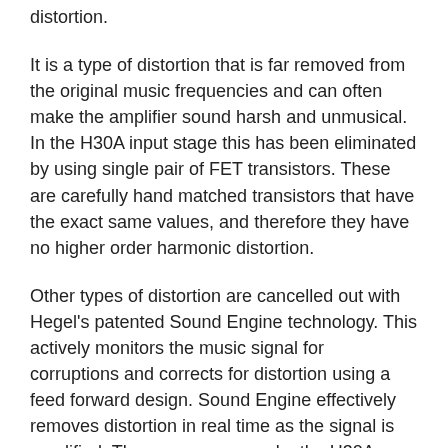distortion.
It is a type of distortion that is far removed from the original music frequencies and can often make the amplifier sound harsh and unmusical. In the H30A input stage this has been eliminated by using single pair of FET transistors. These are carefully hand matched transistors that have the exact same values, and therefore they have no higher order harmonic distortion.
Other types of distortion are cancelled out with Hegel's patented Sound Engine technology. This actively monitors the music signal for corruptions and corrects for distortion using a feed forward design. Sound Engine effectively removes distortion in real time as the signal is amplified. These measures make the H30A sound very smooth and natural, without compromising on the details.